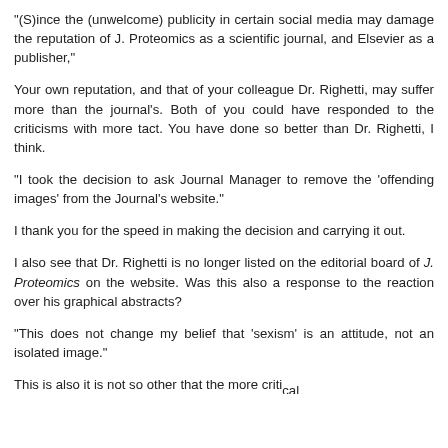“(S)ince the (unwelcome) publicity in certain social media may damage the reputation of J. Proteomics as a scientific journal, and Elsevier as a publisher,”
Your own reputation, and that of your colleague Dr. Righetti, may suffer more than the journal’s. Both of you could have responded to the criticisms with more tact. You have done so better than Dr. Righetti, I think.
“I took the decision to ask Journal Manager to remove the ‘offending images’ from the Journal’s website.”
I thank you for the speed in making the decision and carrying it out.
I also see that Dr. Righetti is no longer listed on the editorial board of J. Proteomics on the website. Was this also a response to the reaction over his graphical abstracts?
“This does not change my belief that ‘sexism’ is an attitude, not an isolated image.”
This is also it is not so other that the more critical